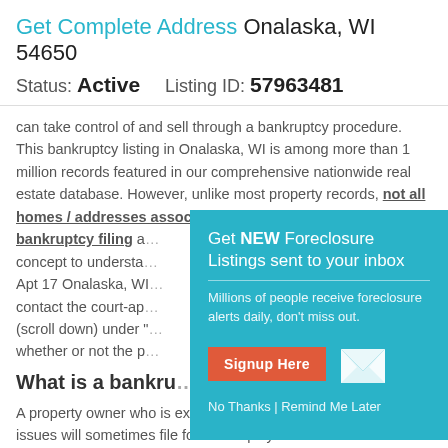Get Complete Address Onalaska, WI 54650
Status: Active   Listing ID: 57963481
can take control of and sell through a bankruptcy procedure. This bankruptcy listing in Onalaska, WI is among more than 1 million records featured in our comprehensive nationwide real estate database. However, unlike most property records, not all homes / addresses associated with a bankruptcy filing a... concept to understand... Apt 17 Onalaska, WI... contact the court-ap... (scroll down) under "..." whether or not the p...
[Figure (infographic): Teal popup modal: 'Get NEW Foreclosure Listings sent to your inbox'. Subtext: 'Millions of people receive foreclosure alerts daily, don't miss out.' Red 'Signup Here' button, envelope icon, and 'No Thanks | Remind Me Later' link.]
What is a bankru...
A property owner who is experiencing difficult financial issues will sometimes file for bankruptcy as a last resort. This is a legal proceeding (usually called Chapter 7